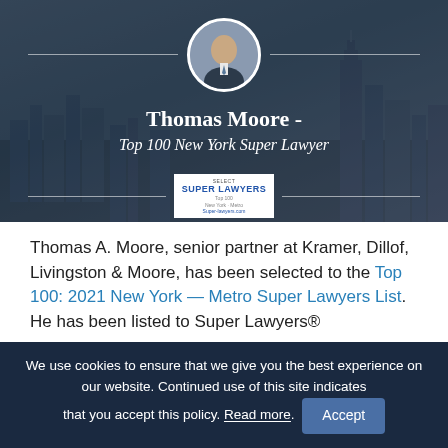[Figure (photo): Hero banner with dark blue city skyline background, circular headshot of Thomas Moore in center top, horizontal white lines flanking the portrait, text overlay with name and title, and a Super Lawyers badge at bottom center]
Thomas A. Moore, senior partner at Kramer, Dillof, Livingston & Moore, has been selected to the Top 100: 2021 New York — Metro Super Lawyers List. He has been listed to Super Lawyers®
We use cookies to ensure that we give you the best experience on our website. Continued use of this site indicates that you accept this policy. Read more. Accept